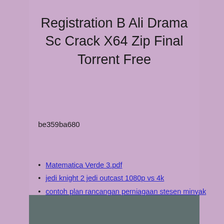Registration B Ali Drama Sc Crack X64 Zip Final Torrent Free
be359ba680
Matematica Verde 3.pdf
jedi knight 2 jedi outcast 1080p vs 4k
contoh plan rancangan perniagaan stesen minyak